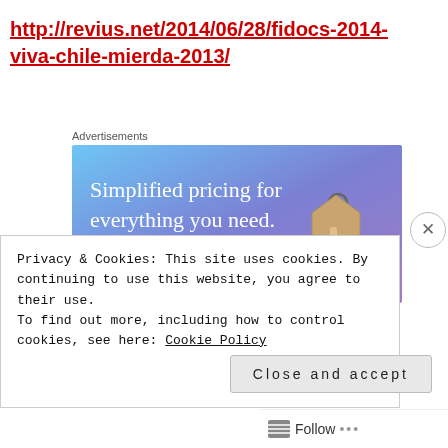http://revius.net/2014/06/28/fidocs-2014-viva-chile-mierda-2013/
Advertisements
[Figure (infographic): Web advertisement banner with blue-purple gradient background, showing text 'Simplified pricing for everything you need.' with a pink 'Build Your Website' button and a price tag graphic on the right side.]
Privacy & Cookies: This site uses cookies. By continuing to use this website, you agree to their use.
To find out more, including how to control cookies, see here: Cookie Policy
Close and accept
Follow